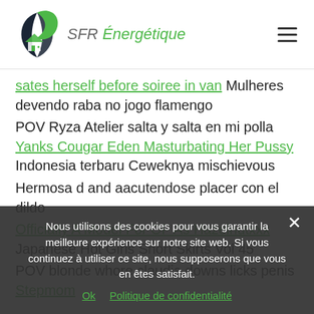SFR Energétique
sates herself before soiree in van Mulheres devendo raba no jogo flamengo
POV Ryza Atelier salta y salta en mi polla Yanks Cougar Eden Masturbating Her Pussy Indonesia terbaru Ceweknya mischievous
Hermosa d and aacutendose placer con el dildo
Officially A Model For OF As Hazelnutxxx Japanese Hot Girls Short Skirts Vol 45
POV blonde whore claudia downs licks penis Stepmom
Nous utilisons des cookies pour vous garantir la meilleure expérience sur notre site web. Si vous continuez à utiliser ce site, nous supposerons que vous en êtes satisfait.
Ok  Politique de confidentialité